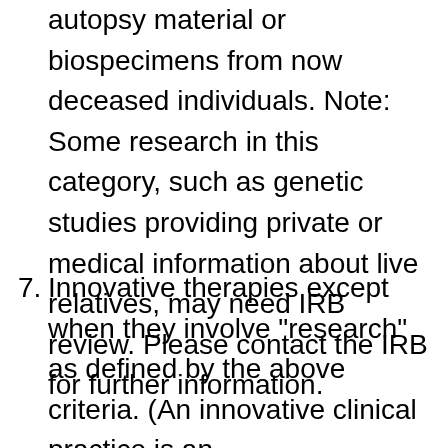autopsy material or biospecimens from now deceased individuals. Note: Some research in this category, such as genetic studies providing private or medical information about live relatives, may need IRB review. Please contact the IRB for further information.
7. Innovative therapies except when they involve "research" as defined by the above criteria. (An innovative clinical practice is an